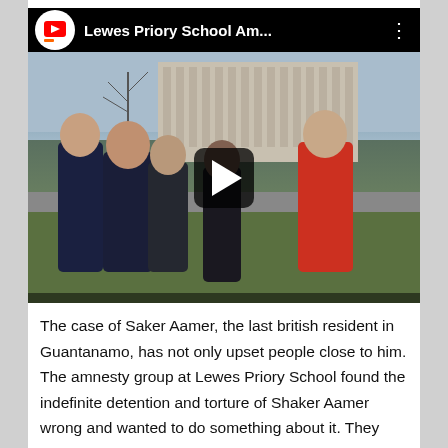[Figure (screenshot): YouTube video thumbnail showing a group of school students outdoors in front of a historic building (likely Houses of Parliament, Westminster). Several students in dark school uniforms stand talking to a young man in a red jumper. The video title bar reads 'Lewes Priory School Am...' with a YouTube logo and three-dot menu. A play button is overlaid in the center.]
The case of Saker Aamer, the last british resident in Guantanamo, has not only upset people close to him. The amnesty group at Lewes Priory School found the indefinite detention and torture of Shaker Aamer wrong and wanted to do something about it. They decided to